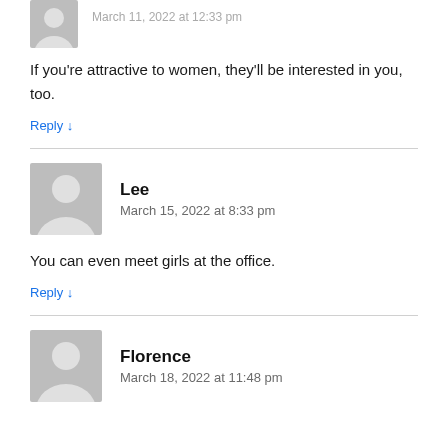[Figure (illustration): Partial user avatar (cropped at top) with partial date text visible]
If you're attractive to women, they'll be interested in you, too.
Reply ↓
Lee
March 15, 2022 at 8:33 pm
You can even meet girls at the office.
Reply ↓
Florence
March 18, 2022 at 11:48 pm